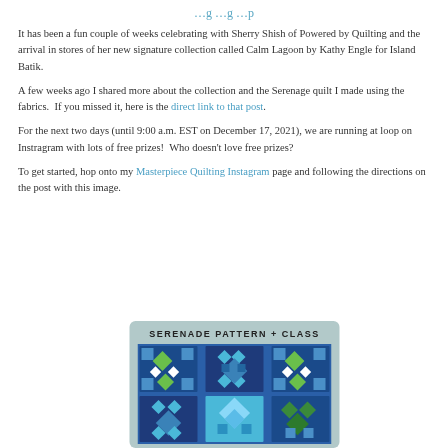…g …g …p
It has been a fun couple of weeks celebrating with Sherry Shish of Powered by Quilting and the arrival in stores of her new signature collection called Calm Lagoon by Kathy Engle for Island Batik.
A few weeks ago I shared more about the collection and the Serenage quilt I made using the fabrics.  If you missed it, here is the direct link to that post.
For the next two days (until 9:00 a.m. EST on December 17, 2021), we are running at loop on Instragram with lots of free prizes!  Who doesn't love free prizes?
To get started, hop onto my Masterpiece Quilting Instagram page and following the directions on the post with this image.
[Figure (illustration): Serenade Pattern + Class promotional card with teal/green quilt block pattern on blue background]